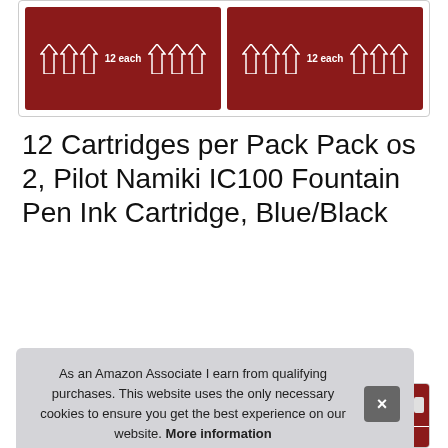[Figure (photo): Two red ink cartridge pack product images side by side showing '12 each' with fountain pen nib icons on a dark red background]
12 Cartridges per Pack Pack os 2, Pilot Namiki IC100 Fountain Pen Ink Cartridge, Blue/Black
#ad
[Figure (photo): Two product thumbnail images — left tile partially shown, right tile showing red IC-100 ink cartridge pack with nib icons]
As an Amazon Associate I earn from qualifying purchases. This website uses the only necessary cookies to ensure you get the best experience on our website. More information